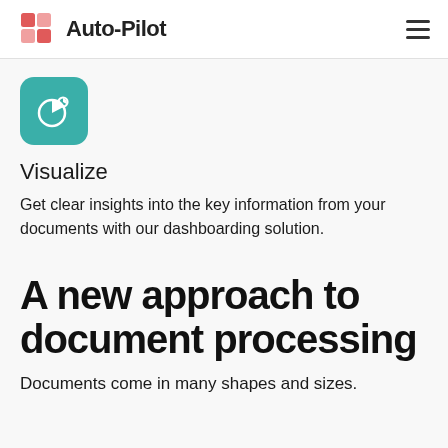Auto-Pilot
[Figure (logo): Teal rounded square icon with a pie chart graphic (chart icon)]
Visualize
Get clear insights into the key information from your documents with our dashboarding solution.
A new approach to document processing
Documents come in many shapes and sizes.